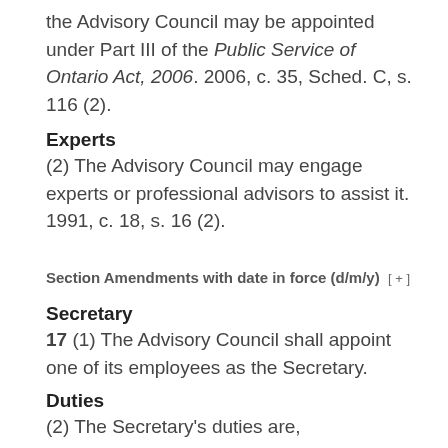the Advisory Council may be appointed under Part III of the Public Service of Ontario Act, 2006. 2006, c. 35, Sched. C, s. 116 (2).
Experts
(2) The Advisory Council may engage experts or professional advisors to assist it.  1991, c. 18, s. 16 (2).
Section Amendments with date in force (d/m/y) [+]
Secretary
17 (1) The Advisory Council shall appoint one of its employees as the Secretary.
Duties
(2) The Secretary's duties are,
(a) to keep records of matters that the